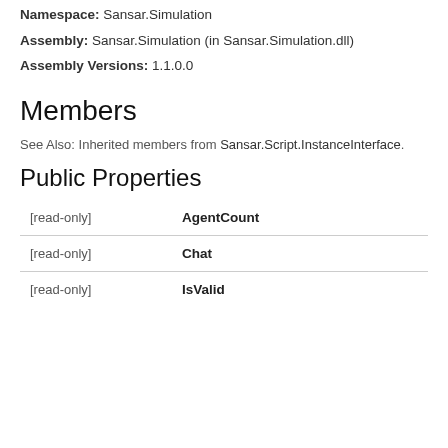Namespace: Sansar.Simulation
Assembly: Sansar.Simulation (in Sansar.Simulation.dll)
Assembly Versions: 1.1.0.0
Members
See Also: Inherited members from Sansar.Script.InstanceInterface.
Public Properties
| Modifier | Property | Description |
| --- | --- | --- |
| [read-only] | AgentCount |  |
| [read-only] | Chat |  |
| [read-only] | IsValid |  |